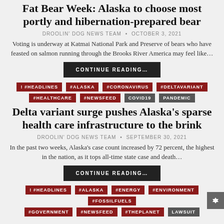Fat Bear Week: Alaska to choose most portly and hibernation-prepared bear
DROOLIN' DOG NEWS TEAM • OCTOBER 3, 2021
Voting is underway at Katmai National Park and Preserve of bears who have feasted on salmon running through the Brooks River America may feel like…
CONTINUE READING…
! #HEADLINES #ALASKA #CORONAVIRUS #DELTAVARIANT #HEALTHCARE #NEWSFEED COVID19 PANDEMIC
Delta variant surge pushes Alaska's sparse health care infrastructure to the brink
DROOLIN' DOG NEWS TEAM • SEPTEMBER 30, 2021
In the past two weeks, Alaska's case count increased by 72 percent, the highest in the nation, as it tops all-time state case and death…
CONTINUE READING…
! #HEADLINES #ALASKA #ENERGY #ENVIRONMENT #FOSSILFUELS #GOVERNMENT #NEWSFEED #THEPLANET LAWSUIT